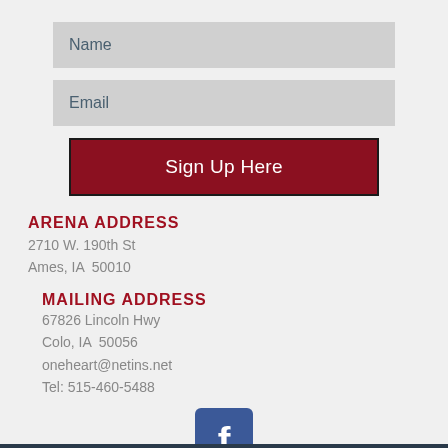Name
Email
Sign Up Here
ARENA ADDRESS
2710 W. 190th St
Ames, IA  50010
MAILING ADDRESS
67826 Lincoln Hwy
Colo, IA  50056
oneheart@netins.net
Tel: 515-460-5488
[Figure (logo): Facebook logo icon — blue square with white lowercase f]
© 2018 by One Heart Equestrian Therapy, Inc